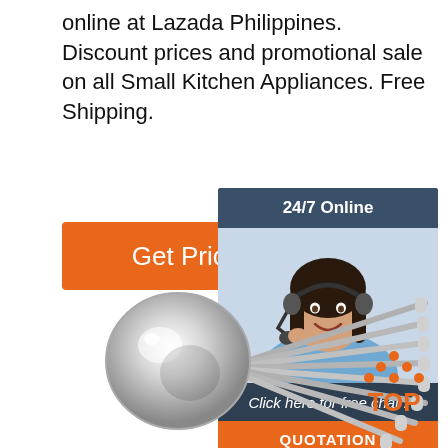online at Lazada Philippines. Discount prices and promotional sale on all Small Kitchen Appliances. Free Shipping.
[Figure (other): Orange 'Get Price' button]
[Figure (other): 24/7 Online chat widget with customer service agent photo, 'Click here for free chat!' text, and orange QUOTATION button]
[Figure (photo): Stainless steel soup spoons fanned out, multiple spoons overlapping showing their round bowls]
[Figure (logo): TOP badge logo with orange dots arranged in triangle above orange TOP text]